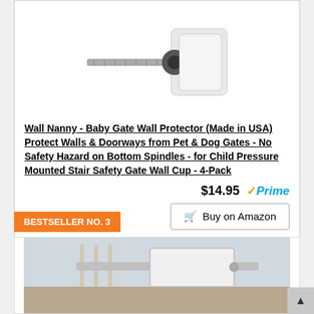[Figure (photo): Product photo of Wall Nanny baby gate wall protector — a white plastic bracket with a metal threaded rod and gray rubber pad/disc]
Wall Nanny - Baby Gate Wall Protector (Made in USA) Protect Walls & Doorways from Pet & Dog Gates - No Safety Hazard on Bottom Spindles - for Child Pressure Mounted Stair Safety Gate Wall Cup - 4-Pack
$14.95  √Prime  Buy on Amazon
BESTSELLER NO. 3
[Figure (photo): Partial product photo showing a baby gate installed at a stairway]